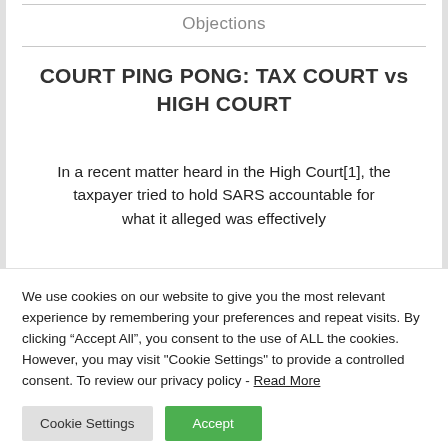Objections
COURT PING PONG: TAX COURT vs HIGH COURT
In a recent matter heard in the High Court[1], the taxpayer tried to hold SARS accountable for what it alleged was effectively
We use cookies on our website to give you the most relevant experience by remembering your preferences and repeat visits. By clicking “Accept All”, you consent to the use of ALL the cookies. However, you may visit "Cookie Settings" to provide a controlled consent. To review our privacy policy - Read More